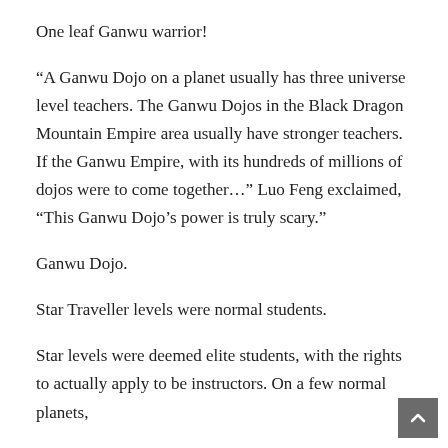One leaf Ganwu warrior!
“A Ganwu Dojo on a planet usually has three universe level teachers. The Ganwu Dojos in the Black Dragon Mountain Empire area usually have stronger teachers. If the Ganwu Empire, with its hundreds of millions of dojos were to come together…” Luo Feng exclaimed, “This Ganwu Dojo’s power is truly scary.”
Ganwu Dojo.
Star Traveller levels were normal students.
Star levels were deemed elite students, with the rights to actually apply to be instructors. On a few normal planets,